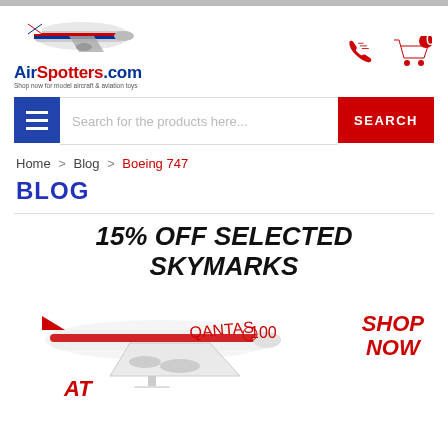[Figure (logo): AirSpotters.com logo with a model plane and UK flag, tagline 'Shop now for model aircraft & aviation toys']
[Figure (infographic): Phone icon and shopping cart icon with badge showing 0]
Search for the products here...
SEARCH
Home > Blog > Boeing 747
BLOG
[Figure (infographic): Promotional banner: '15% OFF SELECTED SKYMARKS' with a Qantas 100th anniversary model airplane, 'SHOP NOW' and 'AT' text in red italic]
15% OFF SELECTED SKYMARKS
SHOP NOW
AT